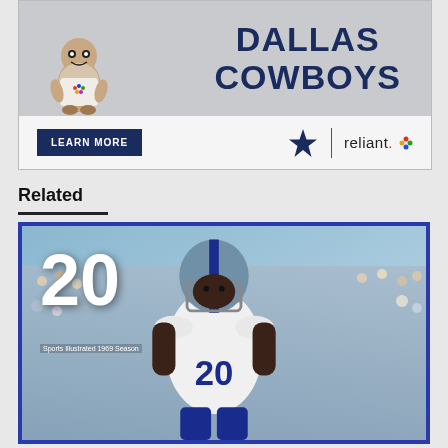[Figure (photo): Dallas Cowboys / Reliant Energy advertisement banner with mascot character and 'DALLAS COWBOYS' text, 'LEARN MORE' button, Cowboys star logo, and Reliant logo]
Related
[Figure (photo): Dallas Cowboys football player wearing jersey number 20, classic era photo with crowd in background, overlaid with large '20' numeral and small text overlay. Blue border frame.]